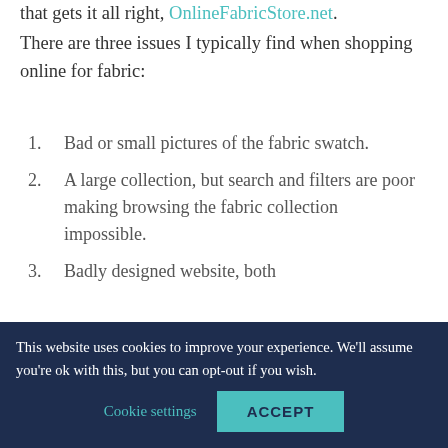that gets it all right, OnlineFabricStore.net.
There are three issues I typically find when shopping online for fabric:
Bad or small pictures of the fabric swatch.
A large collection, but search and filters are poor making browsing the fabric collection impossible.
Badly designed website, both
This website uses cookies to improve your experience. We'll assume you're ok with this, but you can opt-out if you wish.
Cookie settings
ACCEPT